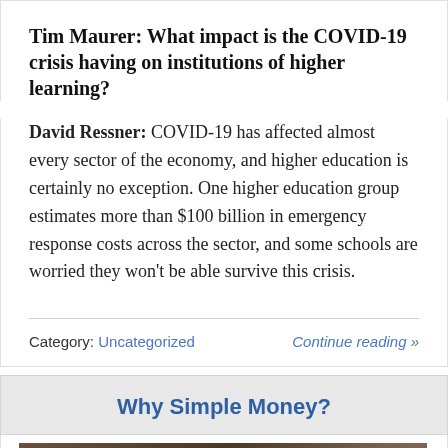Tim Maurer: What impact is the COVID-19 crisis having on institutions of higher learning?
David Ressner: COVID-19 has affected almost every sector of the economy, and higher education is certainly no exception. One higher education group estimates more than $100 billion in emergency response costs across the sector, and some schools are worried they won't be able survive this crisis.
Category: Uncategorized    Continue reading »
Why Simple Money?
[Figure (photo): A darkened photo on a wooden surface, showing what appears to be a book. There is a close/dismiss button (×) in the upper right area of the image.]